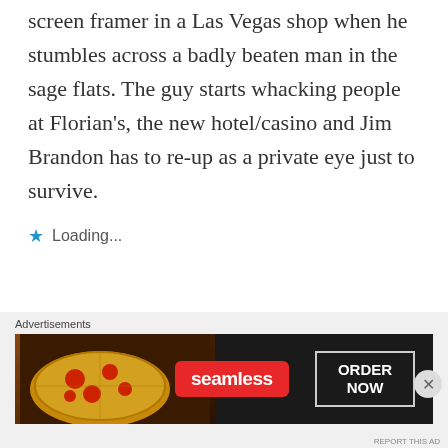O'Grady ISBN # 1886769745 is a screen framer in a Las Vegas shop when he stumbles across a badly beaten man in the sage flats. The guy starts whacking people at Florian's, the new hotel/casino and Jim Brandon has to re-up as a private eye just to survive.
★ Loading...
Advertisements
[Figure (other): Seamless food delivery advertisement banner showing pizza image on the left, the Seamless logo in the center, and an ORDER NOW button on the right, all on a dark background.]